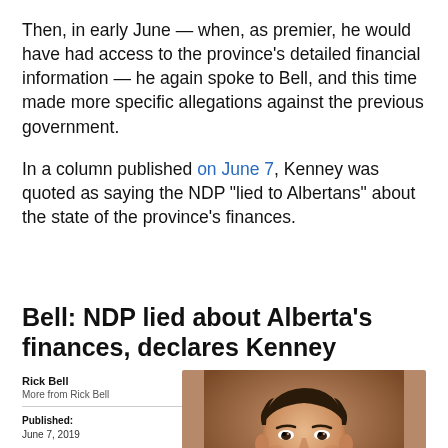Then, in early June — when, as premier, he would have had access to the province's detailed financial information — he again spoke to Bell, and this time made more specific allegations against the previous government.
In a column published on June 7, Kenney was quoted as saying the NDP "lied to Albertans" about the state of the province's finances.
Bell: NDP lied about Alberta's finances, declares Kenney
Rick Bell
More from Rick Bell

Published:
June 7, 2019

Updated:
June 7, 2019 8:24 AM MDT

Filed Under:
Calgary SUN > Opinion >
Columnists:
[Figure (photo): Close-up photograph of a man speaking, shown from shoulders up against a warm brown/tan blurred background.]